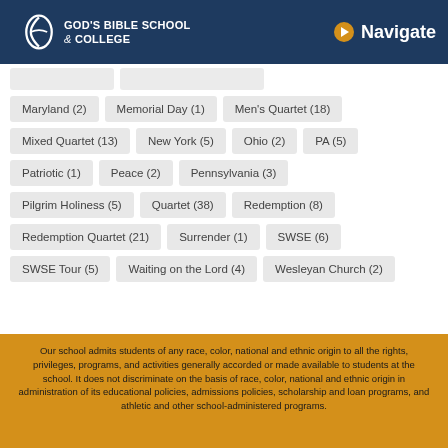God's Bible School & College — Navigate
Maryland (2)
Memorial Day (1)
Men's Quartet (18)
Mixed Quartet (13)
New York (5)
Ohio (2)
PA (5)
Patriotic (1)
Peace (2)
Pennsylvania (3)
Pilgrim Holiness (5)
Quartet (38)
Redemption (8)
Redemption Quartet (21)
Surrender (1)
SWSE (6)
SWSE Tour (5)
Waiting on the Lord (4)
Wesleyan Church (2)
Our school admits students of any race, color, national and ethnic origin to all the rights, privileges, programs, and activities generally accorded or made available to students at the school. It does not discriminate on the basis of race, color, national and ethnic origin in administration of its educational policies, admissions policies, scholarship and loan programs, and athletic and other school-administered programs.